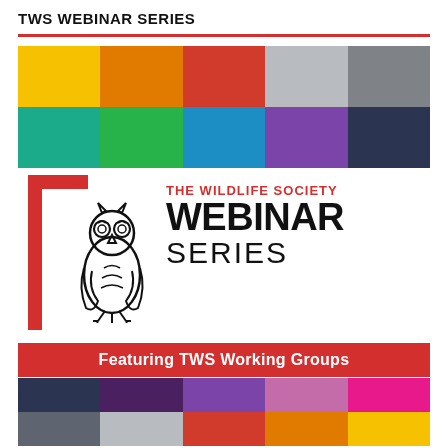TWS WEBINAR SERIES
[Figure (infographic): Top color grid with two rows of five colored rectangles: top row (yellow, orange, red, light gray, dark gray), bottom row (teal/green, bright green, blue, purple, dark navy)]
[Figure (logo): The Wildlife Society Webinar Series logo: red bracket shape on left, owl illustration in center-left, text 'THE WILDLIFE SOCIETY' in red and 'WEBINAR SERIES' in large black bold text on right]
Featuring TWS Working Groups
[Figure (infographic): Bottom color grid with two rows of five colored rectangles: top row (dark navy, dark purple, purple, light purple/pink, hot pink), bottom row (gray, light gray, red/orange, orange, yellow)]